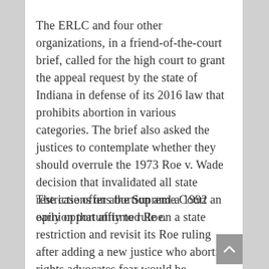The ERLC and four other organizations, in a friend-of-the-court brief, called for the high court to grant the appeal request by the state of Indiana in defense of its 2016 law that prohibits abortion in various categories. The brief also asked the justices to contemplate whether they should overrule the 1973 Roe v. Wade decision that invalidated all state restrictions on abortion and a 1992 opinion that affirmed Roe.
The case offers the Supreme Court an early opportunity to rule on a state restriction and revisit its Roe ruling after adding a new justice who abortion rights advocates fear would be